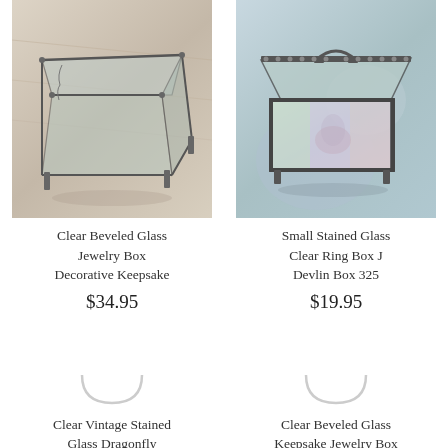[Figure (photo): Clear beveled glass jewelry box with metal frame and feet on wooden surface]
Clear Beveled Glass Jewelry Box Decorative Keepsake
$34.95
[Figure (photo): Small stained glass clear ring box with metal frame and handle]
Small Stained Glass Clear Ring Box J Devlin Box 325
$19.95
[Figure (photo): Placeholder image for Clear Vintage Stained Glass Dragonfly Trinket Box]
Clear Vintage Stained Glass Dragonfly Trinket Box
$38.95
[Figure (photo): Placeholder image for Clear Beveled Glass Keepsake Jewelry Box J Devlin Box 333]
Clear Beveled Glass Keepsake Jewelry Box J Devlin Box 333
$34.95